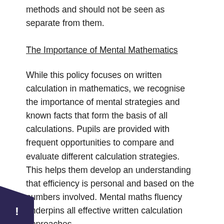methods and should not be seen as separate from them.
The Importance of Mental Mathematics
While this policy focuses on written calculation in mathematics, we recognise the importance of mental strategies and known facts that form the basis of all calculations. Pupils are provided with frequent opportunities to compare and evaluate different calculation strategies. This helps them develop an understanding that efficiency is personal and based on the numbers involved. Mental maths fluency underpins all effective written calculation approaches.